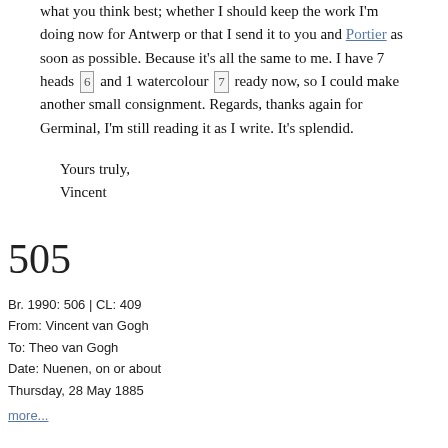what you think best; whether I should keep the work I'm doing now for Antwerp or that I send it to you and Portier as soon as possible. Because it's all the same to me. I have 7 heads [6] and 1 watercolour [7] ready now, so I could make another small consignment. Regards, thanks again for Germinal, I'm still reading it as I write. It's splendid.

Yours truly,
Vincent
505
Br. 1990: 506 | CL: 409
From: Vincent van Gogh
To: Theo van Gogh
Date: Nuenen, on or about
Thursday, 28 May 1885
more...